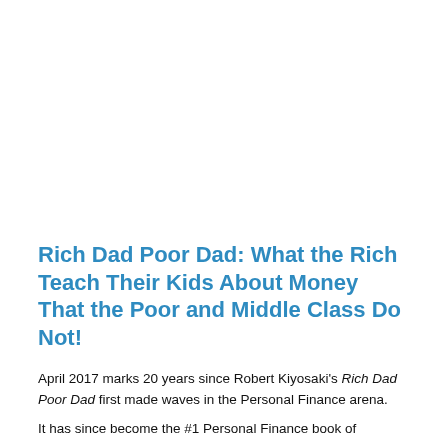Rich Dad Poor Dad: What the Rich Teach Their Kids About Money That the Poor and Middle Class Do Not!
April 2017 marks 20 years since Robert Kiyosaki's Rich Dad Poor Dad first made waves in the Personal Finance arena.
It has since become the #1 Personal Finance book of